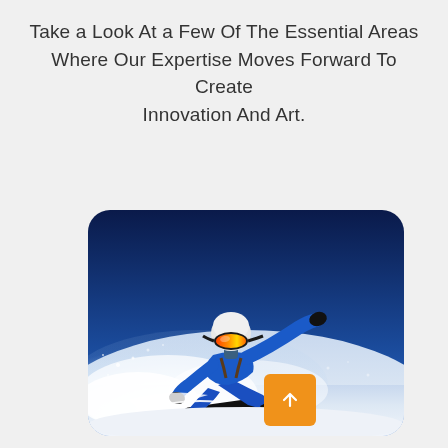Take a Look At a Few Of The Essential Areas Where Our Expertise Moves Forward To Create Innovation And Art.
[Figure (photo): A snowboarder in a blue suit and white helmet with colorful goggles performing a sliding trick on a snowy slope, with snow spray around them and a deep blue sky in the background. An orange button with an upward arrow is overlaid in the bottom-right corner of the image.]